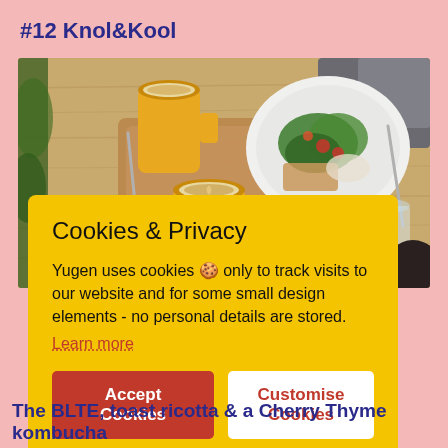#12 Knol&Kool
[Figure (photo): Photo of a cafe table with two yellow mugs of coffee/latte, a wooden serving board, and a plate with a salad dish containing greens and tomatoes. Background shows dark upholstered seating.]
Cookies & Privacy

Yugen uses cookies 🍪 only to track visits to our website and for some small design elements - no personal details are stored.

Learn more

[Accept Cookies] [Customise Cookies]
The BLTE, toast ricotta & a Cherry Thyme kombucha